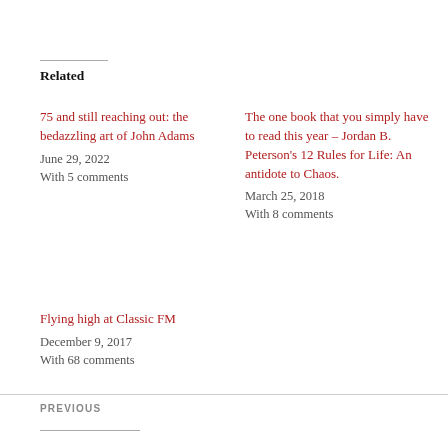Related
75 and still reaching out: the bedazzling art of John Adams
June 29, 2022
With 5 comments
The one book that you simply have to read this year – Jordan B. Peterson's 12 Rules for Life: An antidote to Chaos.
March 25, 2018
With 8 comments
Flying high at Classic FM
December 9, 2017
With 68 comments
PREVIOUS